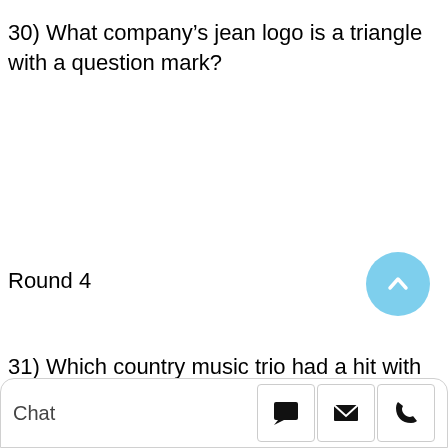30) What company's jean logo is a triangle with a question mark?
Round 4
31) Which country music trio had a hit with “Goodbye Earl”?
Chat